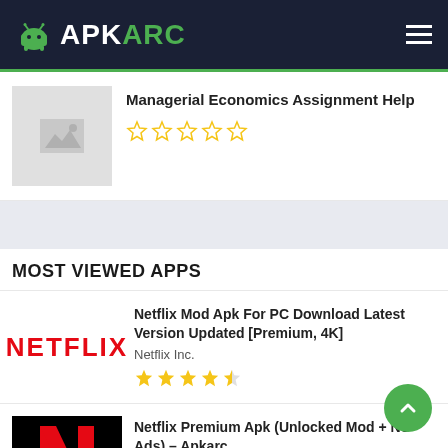APKARC
[Figure (other): Placeholder image thumbnail for Managerial Economics Assignment Help app]
Managerial Economics Assignment Help
★☆☆☆☆ (empty star rating)
MOST VIEWED APPS
[Figure (logo): Netflix text logo in red on white background]
Netflix Mod Apk For PC Download Latest Version Updated [Premium, 4K]
Netflix Inc.
★★★★½ rating
[Figure (logo): Netflix N logo in red on black background]
Netflix Premium Apk (Unlocked Mod + No Ads) – Apkarc
Netflix Inc.
★★★★★ rating